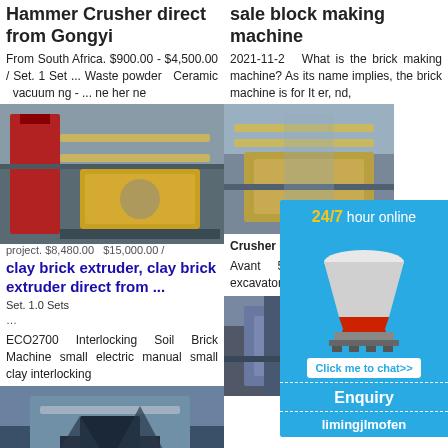Hammer Crusher direct from Gongyi
From South Africa. $900.00 - $4,500.00 / Set. 1 Set ... Waste powder Ceramic vacuum ng - ... ne her ne project. $8,480.00 - $15,000.00 / Set. 1.0 Sets
[Figure (photo): Photo of a hammer crusher industrial machine with conveyor belts and metal structure]
clay brick extruder, clay brick extruder direct from ...
ECO2700 Interlocking Soil Brick Machine small electric manual small clay interlocking ne. uth 1.0 on der ck
[Figure (photo): Photo of an industrial crushing/mining machine with conveyor structure outdoors]
sale block making machine
2021-11-2  What is the brick making machine? As its name implies, the brick machine is for It er, nd,
[Figure (photo): Photo of a large industrial crushing machine with conveyor belts in mountainous area]
Crusher Gumtree
Avant 5 Telescopic mini digge excavator,
[Figure (photo): Photo of industrial factory building with large equipment and steel structures]
[Figure (infographic): 24/7 hour online chat popup with cone crusher image, Click me to chat>> button, Enquiry link, and limingjlmofen text]
24/7 hour online
Click me to chat>>
Enquiry
limingjlmofen